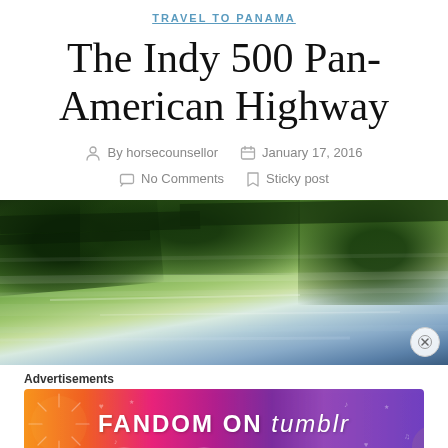TRAVEL TO PANAMA
The Indy 500 Pan-American Highway
By horsecounsellor   January 17, 2016   No Comments   Sticky post
[Figure (photo): Motion-blurred outdoor scene showing greenery and sky, appears to be taken from a moving vehicle]
Advertisements
[Figure (other): Advertisement banner: FANDOM ON tumblr, colorful gradient background with orange, pink, and purple colors]